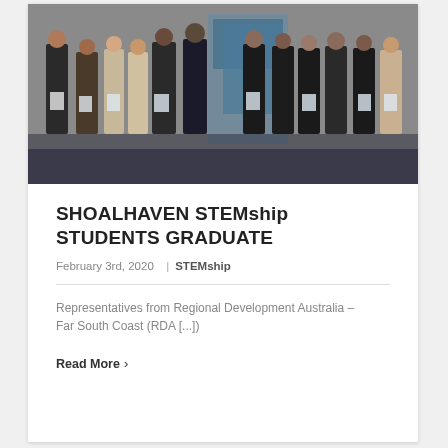[Figure (photo): Group photo of approximately 12 people standing in a row holding certificates/papers, at what appears to be a graduation or award ceremony event, with a banner/backdrop behind them.]
SHOALHAVEN STEMship STUDENTS GRADUATE
February 3rd, 2020  |  STEMship
Representatives from Regional Development Australia – Far South Coast (RDA [...])
Read More >